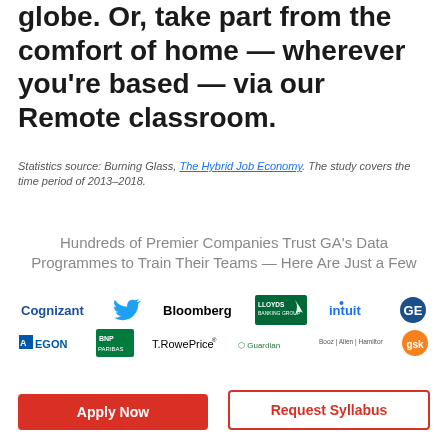globe. Or, take part from the comfort of home — wherever you're based — via our Remote classroom.
Statistics source: Burning Glass, The Hybrid Job Economy. The study covers the time period of 2013–2018.
Hundreds of Premier Companies Trust GA's Data Programmes to Train Their Teams — Here Are Just a Few
[Figure (logo): Company logos: Cognizant, Twitter, Bloomberg, Lloyds Banking Group, Intuit, GE, AEGON, BNP Paribas, T.Rowe Price, Guardian, Booz Allen Hamilton, GSK]
Apply Now
Request Syllabus